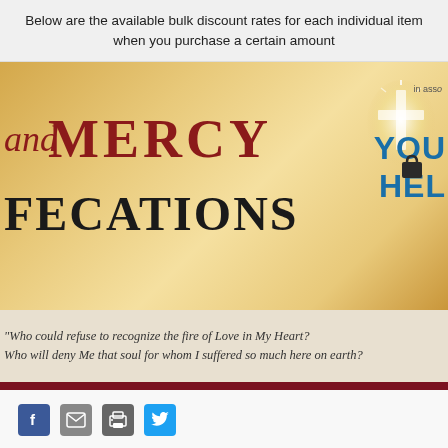Below are the available bulk discount rates for each individual item when you purchase a certain amount
[Figure (logo): Parchment gold banner with 'and MERCY' in dark red and 'FCATIONS' in dark text, partial logo with cross and 'YOU HEL' in blue on right side]
“Who could refuse to recognize the fire of Love in My Heart? Who will deny Me that soul for whom I suffered so much here on earth?
[Figure (infographic): Social sharing icons: Facebook (blue), Email (grey), Print (grey), Twitter (blue)]
Product Description